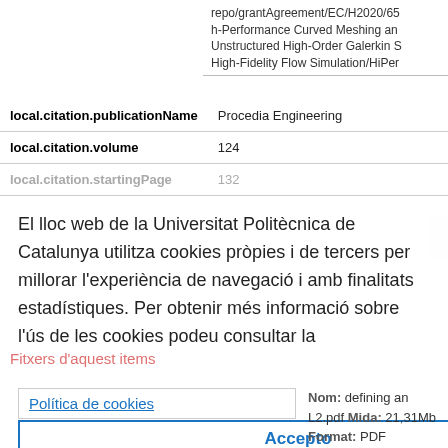repo/grantAgreement/EC/H2020/65
h-Performance Curved Meshing and
Unstructured High-Order Galerkin S
High-Fidelity Flow Simulation/HiPer
| Field | Value |
| --- | --- |
| local.citation.publicationName | Procedia Engineering |
| local.citation.volume | 124 |
| local.citation.startingPage | 132 |
El lloc web de la Universitat Politècnica de Catalunya utilitza cookies pròpies i de tercers per millorar l'experiència de navegació i amb finalitats estadístiques. Per obtenir més informació sobre l'ús de les cookies podeu consultar la
Fitxers d'aquest items
Política de cookies
Accepto
Nom:
defining an L2.pdf
Mida:
21,31Mb
Format:
PDF
[Figure (screenshot): Thumbnail preview of a PDF document page]